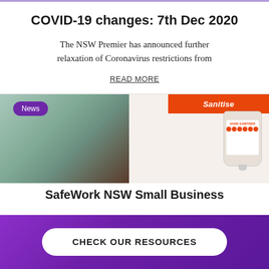COVID-19 changes: 7th Dec 2020
The NSW Premier has announced further relaxation of Coronavirus restrictions from
READ MORE
[Figure (photo): Photo of a hand sanitiser dispenser mounted on a wall with an orange Sanitise banner above it, in a room with teal/green walls]
SafeWork NSW Small Business
CHECK OUR RESOURCES